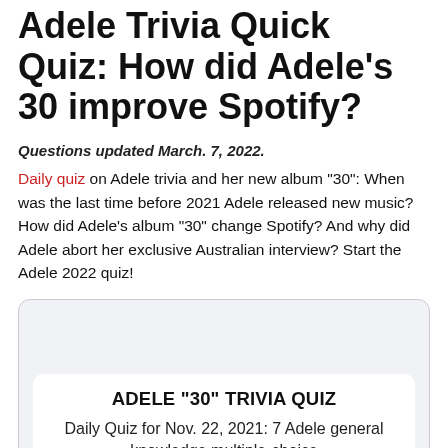Adele Trivia Quick Quiz: How did Adele’s 30 improve Spotify?
Questions updated March. 7, 2022.
Daily quiz on Adele trivia and her new album "30": When was the last time before 2021 Adele released new music? How did Adele’s album "30" change Spotify? And why did Adele abort her exclusive Australian interview? Start the Adele 2022 quiz!
ADELE "30" TRIVIA QUIZ
Daily Quiz for Nov. 22, 2021: 7 Adele general knowledge multiple-choice